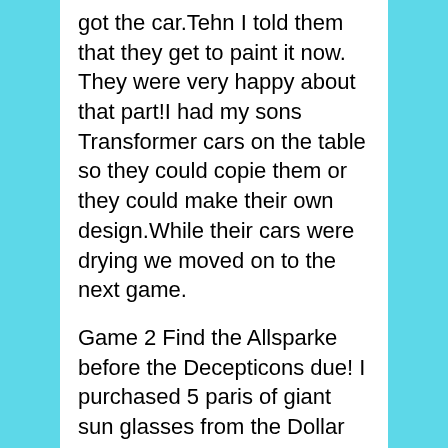got the car.Tehn I told them that they get to paint it now. They were very happy about that part!I had my sons Transformer cars on the table so they could copie them or they could make their own design.While their cars were drying we moved on to the next game.
Game 2 Find the Allsparke before the Decepticons due! I purchased 5 paris of giant sun glasses from the Dollar store and put a little map on the lens.The glasses represent Sam's Great Grandfathers glasses from the movie.I put the kids in 5 groupseach group had a different map that led to an Allsparke.For the Allsparke I used 5 small boxespainted them silver to look like the Allsparke.In each box